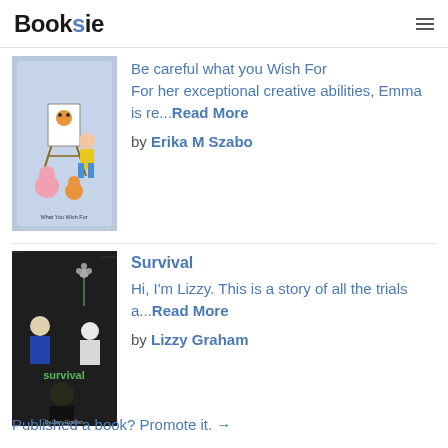Booksie
[Figure (illustration): Book cover for 'Be Careful What You Wish For' by Erika M Szabo showing a girl painting at an easel with cartoon cats]
Be careful what you Wish for
For her exceptional creative abilities, Emma is re...Read More
by Erika M Szabo
[Figure (illustration): Book cover for 'Survival' by Lizzy Graham showing two female figures against a dark background with a flower]
Survival
Hi, I'm Lizzy. This is a story of all the trials a...Read More
by Lizzy Graham
Published a book? Promote it. →